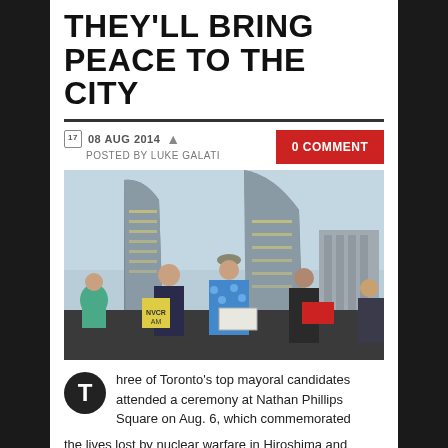THEY'LL BRING PEACE TO THE CITY
08 AUG 2014  POSTED BY LUKE GALATI
0 COMMENT
[Figure (photo): Group of people standing in front of Toronto City Hall buildings, holding boxes and signs, at what appears to be a public ceremony.]
Three of Toronto's top mayoral candidates attended a ceremony at Nathan Phillips Square on Aug. 6, which commemorated the lives lost by nuclear warfare in Hiroshima and